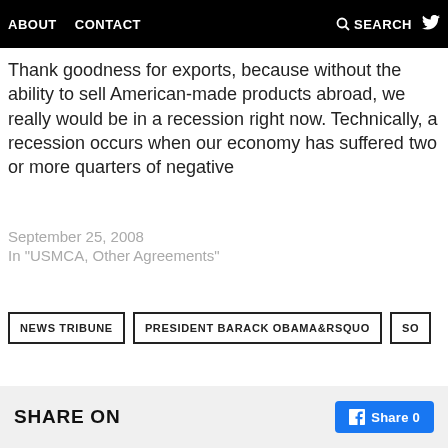ABOUT   CONTACT   🔍 SEARCH   🐦
Thank goodness for exports, because without the ability to sell American-made products abroad, we really would be in a recession right now. Technically, a recession occurs when our economy has suffered two or more quarters of negative
September 25, 2008
In "USMCA, Other Agreements"
NEWS TRIBUNE
PRESIDENT BARACK OBAMA&RSQUO
SO
SHARE ON
Share 0